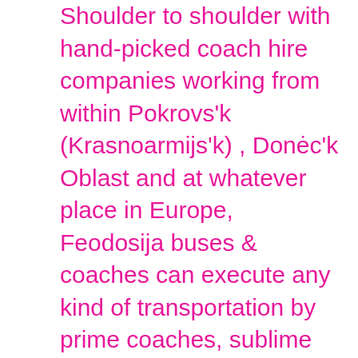Shoulder to shoulder with hand-picked coach hire companies working from within Pokrovs'k (Krasnoarmijs'k) , Donėc'k Oblast and at whatever place in Europe, Feodosija buses & coaches can execute any kind of transportation by prime coaches, sublime buses, and outstanding double-deckers. We would love to check your letter of inquiry and respond to your questions referring to relating to coach, bus or double-decker rental across Pokrovs'k (Krasnoarmijs'k) and in its environments. If your company is looking for premium buses for merely a short coach transfer, or a notably longer coach trip, we can personalize request in Pokrovs'k (Krasnoarmijs'k) and in its neighbourhood. We are here for you to reach out for us by email or by telephone in order to